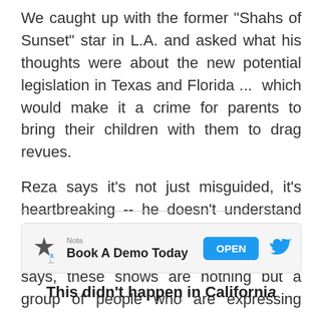We caught up with the former "Shahs of Sunset" star in L.A. and asked what his thoughts were about the new potential legislation in Texas and Florida ...  which would make it a crime for parents to bring their children with them to drag revues.
Reza says it's not just misguided, it's heartbreaking -- he doesn't understand why drag shows are being sexualized by folks who know nothing about them. He says, these shows are nothing but a group of people who are expressing themselves and entertaining people in their own way.
[Figure (other): Advertisement banner: Nota logo with Texas star icon, text 'Book A Demo Today', blue OPEN button, Twitter bird logo]
This didn't happen in California